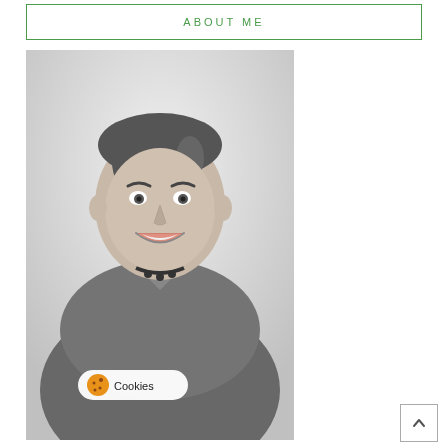ABOUT ME
[Figure (photo): Black and white portrait photo of a smiling young man wearing a button-up shirt and bead necklace, photographed against a light background. A cookies consent badge is visible in the lower left corner of the photo.]
[Figure (other): Back-to-top arrow button in bottom right corner]